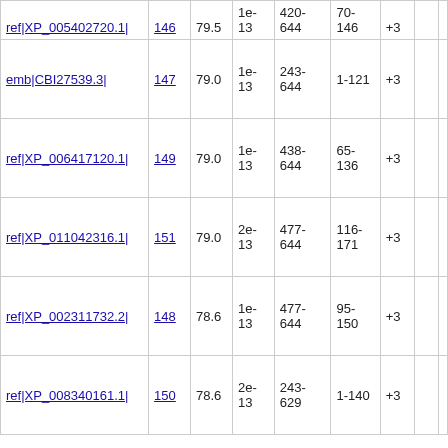| ref|XP_005402720.1| | 146 | 79.5 | 1e-13 | 420-644 | 70-146 | +3 |  |  |
| emb|CBI27539.3| | 147 | 79.0 | 1e-13 | 243-644 | 1-121 | +3 |  |  |
| ref|XP_006417120.1| | 149 | 79.0 | 1e-13 | 438-644 | 65-136 | +3 |  |  |
| ref|XP_011042316.1| | 151 | 79.0 | 2e-13 | 477-644 | 116-171 | +3 |  |  |
| ref|XP_002311732.2| | 148 | 78.6 | 1e-13 | 477-644 | 95-150 | +3 |  |  |
| ref|XP_008340161.1| | 150 | 78.6 | 2e-13 | 243-629 | 1-140 | +3 |  |  |